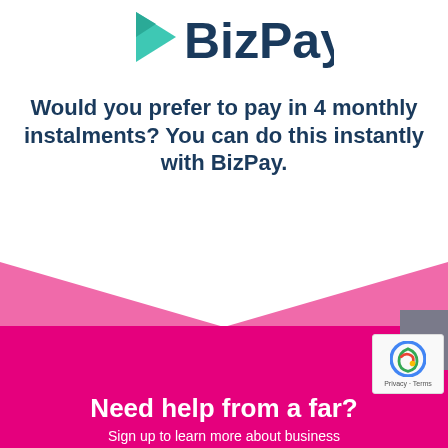[Figure (logo): BizPay logo: teal/green play-button triangle icon to the left of 'BizPay' text in dark navy bold font]
Would you prefer to pay in 4 monthly instalments? You can do this instantly with BizPay.
[Figure (illustration): Pink and magenta X/bowtie decorative shape dividing the white upper section from the magenta lower section]
Need help from a far?
Sign up to learn more about business